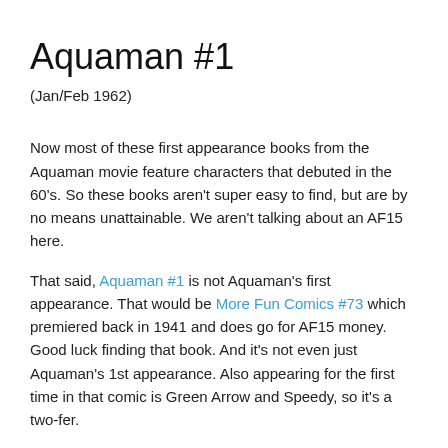Aquaman #1
(Jan/Feb 1962)
Now most of these first appearance books from the Aquaman movie feature characters that debuted in the 60's. So these books aren't super easy to find, but are by no means unattainable. We aren't talking about an AF15 here.
That said, Aquaman #1 is not Aquaman's first appearance. That would be More Fun Comics #73 which premiered back in 1941 and does go for AF15 money. Good luck finding that book. And it's not even just Aquaman's 1st appearance. Also appearing for the first time in that comic is Green Arrow and Speedy, so it's a two-fer.